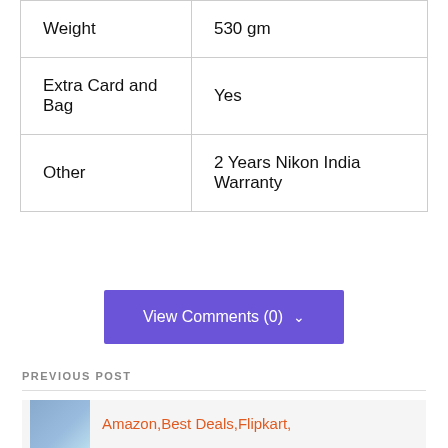|  |  |
| --- | --- |
| Weight | 530 gm |
| Extra Card and Bag | Yes |
| Other | 2 Years Nikon India Warranty |
View Comments (0) ∨
PREVIOUS POST
Amazon,Best Deals,Flipkart,